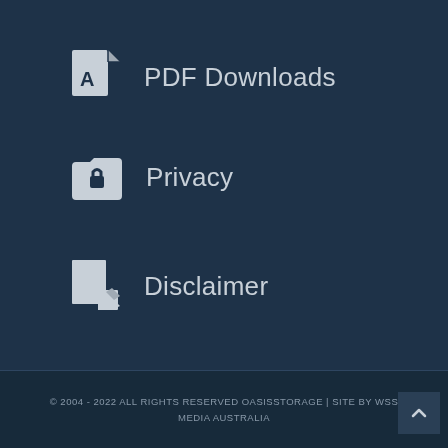PDF Downloads
Privacy
Disclaimer
© 2004 - 2022 ALL RIGHTS RESERVED OASISSTORAGE | SITE BY WSS MEDIA AUSTRALIA